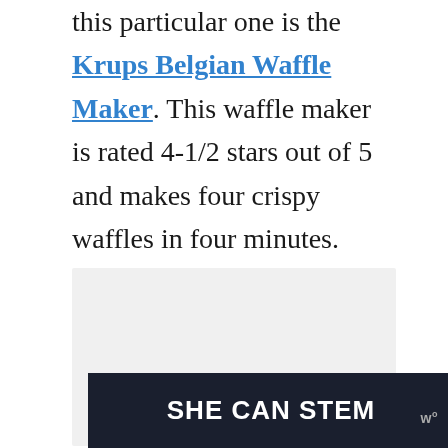this particular one is the Krups Belgian Waffle Maker. This waffle maker is rated 4-1/2 stars out of 5 and makes four crispy waffles in four minutes. The non-stick cooking plates prevent waffles from sticking and make cleanup easy.
[Figure (other): Advertisement placeholder box with three dots indicating a slideshow/carousel ad unit]
[Figure (other): SHE CAN STEM banner advertisement with dark navy/black background and white bold text, with Mediavine logo to the right]